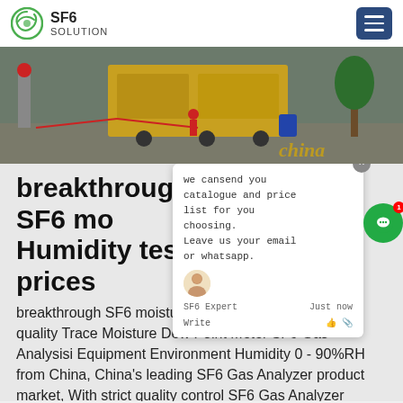SF6 SOLUTION
[Figure (photo): Outdoor industrial site photo showing workers and a large yellow truck/container in a construction or substation area, with trees in background]
breakthrough SF6 moisture Humidity test prices
breakthrough SF6 moisture Humidity test prices,High quality Trace Moisture Dew Point Meter SF6 Gas Analysisi Equipment Environment Humidity 0 - 90%RH from China, China's leading SF6 Gas Analyzer product market, With strict quality control SF6 Gas Analyzer factories, Producing high quality Trace Moisture Dew Point Meter SF6 Gas Analysisi Equipment Environment